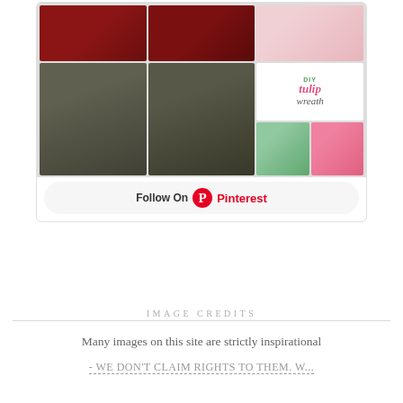[Figure (photo): Pinterest widget showing a collage of craft images including yarn hearts, a tulip wreath, bunny decorations, and a 'DIY tulip wreath' text graphic, with a 'Follow On Pinterest' button below]
IMAGE CREDITS
Many images on this site are strictly inspirational - WE DON'T CLAIM RIGHTS TO THEM. W...